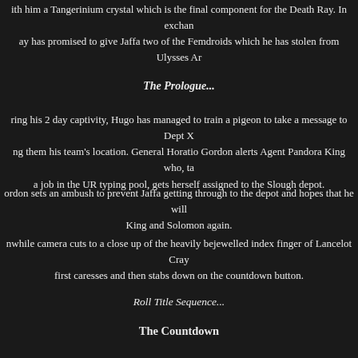ith him a Tangerinium crystal which is the final component for the Death Ray. In exchan ay has promised to give Jaffa two of the Femdroids which he has stolen from Ulysses Ar
The Prologue...
ring his 2 day captivity, Hugo has managed to train a pigeon to take a message to Dept X ng them his team's location. General Horatio Gordon alerts Agent Pandora King who, ta a job in the UR typing pool, gets herself assigned to the Slough depot.
ordon sets an ambush to prevent Jaffa getting through to the depot and hopes that he will King and Solomon again.
nwhile camera cuts to a close up of the heavily bejewelled index finger of Lancelot Cray first caresses and then stabs down on the countdown button.
Roll Title Sequence...
The Countdown
long as there are two boffins in contact with computer banks in the UR warehouse, they ce invent rolls from turn one onwards to get the Death Ray warmed up. When the total ge 1, all that will be required is the installation of the crystal. This requires the figure with t rystal to spend two actions at the control panel in the UR warehouse. It then takes a furth action to fire the Death Ray to demonstrate it's effectiveness.
und the UR depot are various control boxes. These are vital to the arming of the laser. If taken out of action then each invent roll will be at -1 per damaged control panel. If the ta of 21 has been reached the -1s come off of the total meaning that invent rolls will need to continue. Control panels are Def3 and can be shot or smashed by melee attack.